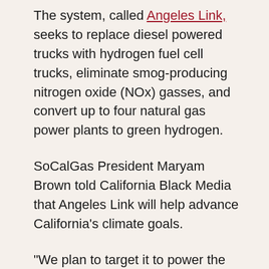The system, called Angeles Link, seeks to replace diesel powered trucks with hydrogen fuel cell trucks, eliminate smog-producing nitrogen oxide (NOx) gasses, and convert up to four natural gas power plants to green hydrogen.
SoCalGas President Maryam Brown told California Black Media that Angeles Link will help advance California's climate goals.
“We plan to target it to power the sectors of the economy that are often called hard to electrify,”